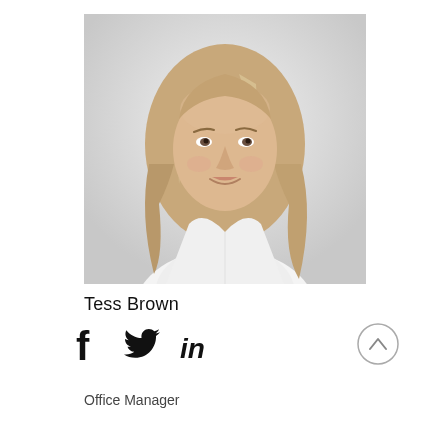[Figure (photo): Professional headshot of a woman with blonde wavy hair wearing a white top, against a light grey background]
Tess Brown
[Figure (infographic): Social media icons: Facebook (f), Twitter (bird), LinkedIn (in)]
Office Manager